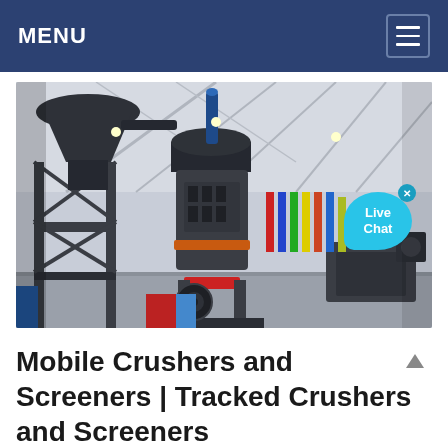MENU
[Figure (photo): Industrial grinding mill / crusher machine displayed in a large factory or exhibition hall. The machine is dark grey/black with cylindrical grinding chambers, mounted on a steel frame. Colorful banners and flags are visible in the background of the hall.]
Mobile Crushers and Screeners | Tracked Crushers and Screeners